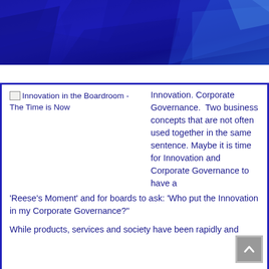[Figure (photo): Dark blue geometric/abstract header banner with polygon shapes]
[Figure (illustration): Broken image placeholder for 'Innovation in the Boardroom - The Time is Now']
Innovation. Corporate Governance.  Two business concepts that are not often used together in the same sentence. Maybe it is time for Innovation and Corporate Governance to have a 'Reese's Moment' and for boards to ask: 'Who put the Innovation in my Corporate Governance?'
While products, services and society have been rapidly and